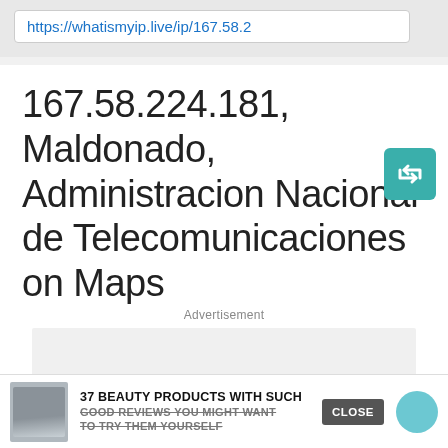https://whatismyip.live/ip/167.58.2
167.58.224.181, Maldonado, Administracion Nacional de Telecomunicaciones on Maps
Advertisement
[Figure (other): Advertisement placeholder box (light gray rectangle)]
37 BEAUTY PRODUCTS WITH SUCH GOOD REVIEWS YOU MIGHT WANT TO TRY THEM YOURSELF